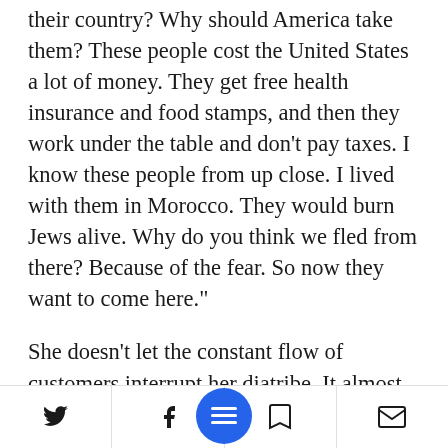their country? Why should America take them? These people cost the United States a lot of money. They get free health insurance and food stamps, and then they work under the table and don’t pay taxes. I know these people from up close. I lived with them in Morocco. They would burn Jews alive. Why do you think we fled from there? Because of the fear. So now they want to come here.”
She doesn’t let the constant flow of customers interrupt her diatribe. It almost seems like her passion for politics is on a par with her passion for pastries.
Social share bar with Twitter, Facebook, menu, bookmark, and email icons